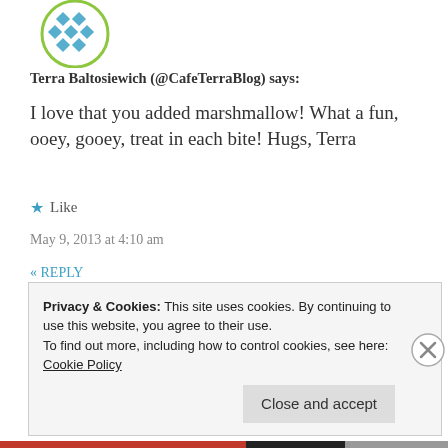[Figure (illustration): Circular avatar with teal/blue diamond pattern on white background, green circle border]
Terra Baltosiewich (@CafeTerraBlog) says:
I love that you added marshmallow! What a fun, ooey, gooey, treat in each bite! Hugs, Terra
★ Like
May 9, 2013 at 4:10 am
« REPLY
[Figure (photo): Circular avatar photo of a blonde woman, green circle border]
Privacy & Cookies: This site uses cookies. By continuing to use this website, you agree to their use.
To find out more, including how to control cookies, see here:
Cookie Policy
Close and accept